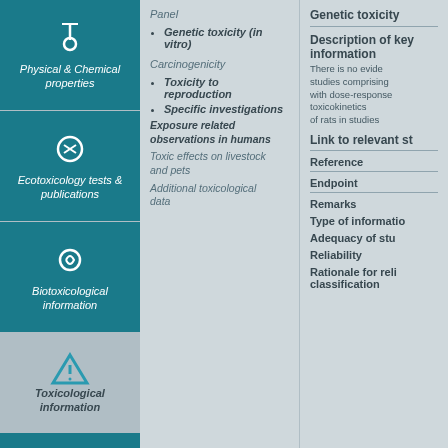[Figure (infographic): Left navigation column with teal icons and labels for: Physical & Chemical properties, Ecotoxicology tests & publications, Biotoxicological information, Toxicological information, and two more teal boxes below]
Genetic toxicity (in vitro)
Carcinogenicity
Toxicity to reproduction
Specific investigations
Exposure related observations in humans
Toxic effects on livestock and pets
Additional toxicological data
Genetic toxicity
Description of key information
There is no evidence of studies comprising with dose-response relationship for toxicokinetics of rats in studies
Link to relevant studies
Reference
Endpoint
Remarks
Type of information
Adequacy of study
Reliability
Rationale for reliability classification